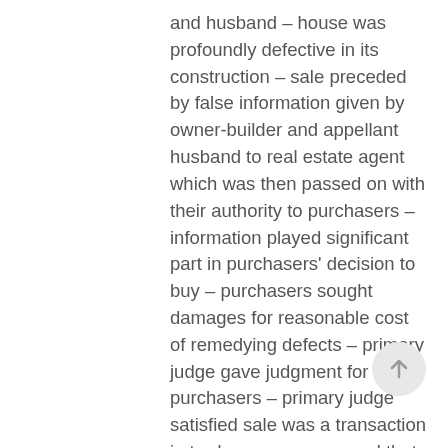and husband – house was profoundly defective in its construction – sale preceded by false information given by owner-builder and appellant husband to real estate agent which was then passed on with their authority to purchasers – information played significant part in purchasers' decision to buy – purchasers sought damages for reasonable cost of remedying defects – primary judge gave judgment for purchasers – primary judge satisfied sale was a transaction in trade or commerce and that conduct complained of was in trade or commerce – falsity of representations established – mis-statements made in